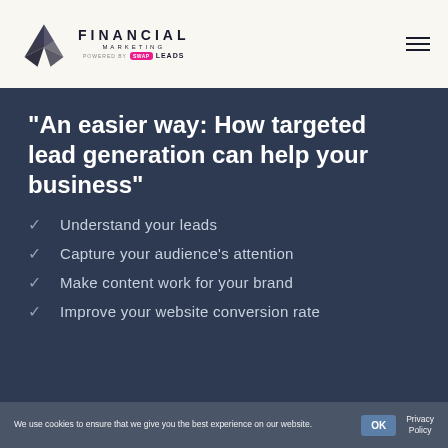[Figure (logo): Financial Marketing logo — origami bird icon with text FINANCIAL MARKETING powered by SWAP LEADS]
“An easier way: How targeted lead generation can help your business”
Understand your leads
Capture your audience’s attention
Make content work for your brand
Improve your website conversion rate
We use cookies to ensure that we give you the best experience on our website.
OK
Privacy Policy